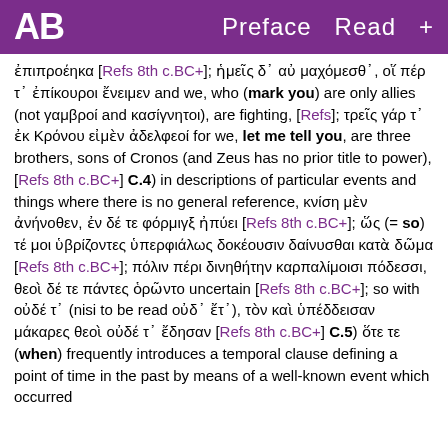AB   Preface  Read  +
ἐπιπροέηκα [Refs 8th c.BC+]; ἡμεῖς δ᾽ αὐ μαχόμεσθ᾽, οἵ πέρ τ᾽ ἐπίκουροι ἔνειμεν and we, who (mark you) are only allies (not γαμβροί and κασίγνητοι), are fighting, [Refs]; τρεῖς γάρ τ᾽ ἐκ Κρόνου εἰμὲν ἀδελφεοί for we, let me tell you, are three brothers, sons of Cronos (and Zeus has no prior title to power),[Refs 8th c.BC+] C.4) in descriptions of particular events and things where there is no general reference, κνίση μὲν ἀνήνοθεν, ἐν δέ τε φόρμιγξ ἠπύει [Refs 8th c.BC+]; ὥς (= so) τέ μοι ὑβρίζοντες ὑπερφιάλως δοκέουσιν δαίνυσθαι κατὰ δῶμα [Refs 8th c.BC+]; πόλιν πέρι δινηθήτην καρπαλίμοισι πόδεσσι, θεοὶ δέ τε πάντες ὁρῶντο uncertain [Refs 8th c.BC+]; so with οὐδέ τ᾽ (nisi to be read οὐδ᾽ ἔτ᾽), τὸν καὶ ὑπέδδεισαν μάκαρες θεοὶ οὐδέ τ᾽ ἔδησαν [Refs 8th c.BC+] C.5) ὅτε τε (when) frequently introduces a temporal clause defining a point of time in the past by means of a well-known event which occurred